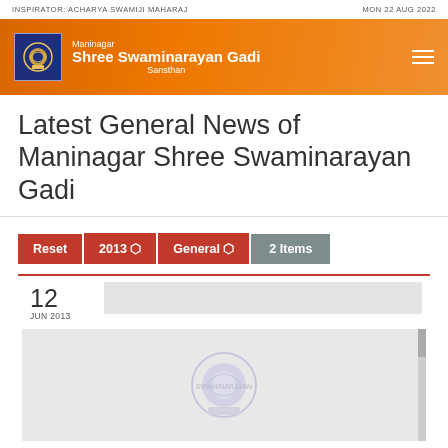INSPIRATOR: ACHARYA SWAMIJI MAHARAJ    MON 22 AUG 2022
[Figure (screenshot): Orange banner with Maninagar Shree Swaminarayan Gadi Sansthan logo and name, hamburger menu icon on the right]
Latest General News of Maninagar Shree Swaminarayan Gadi
Reset  2013  General  2 Items
[Figure (photo): News item dated 12 JUN 2013 showing a light grey placeholder image with a faint Swaminarayan Gadi logo watermark in the center]